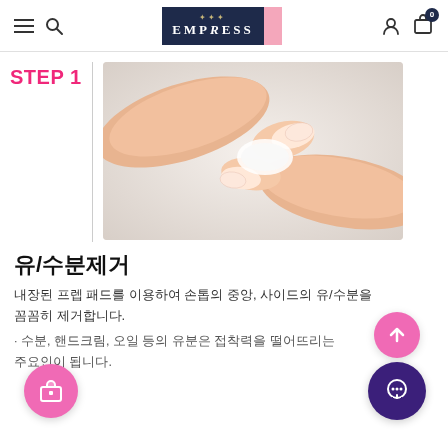EMPRESS
STEP 1
[Figure (photo): Two hands with bare nails touching on a white surface, demonstrating nail prep step 1 - oil and moisture removal]
유/수분제거
내장된 프렙 패드를 이용하여 손톱의 중앙, 사이드의 유/수분을 꼼꼼히 제거합니다.
· 수분, 핸드크림, 오일 등의 유분은 접착력을 떨어뜨리는 주요인이 됩니다.